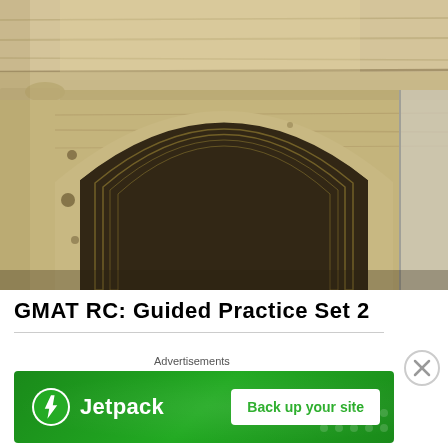[Figure (photo): Close-up photograph of an ancient Roman stone arch (likely the Colosseum), showing weathered limestone masonry with a rounded archway and decorative column capital, lit by natural sunlight against a blue sky backdrop.]
GMAT RC: Guided Practice Set 2
[Figure (other): Advertisement banner: Jetpack logo with lightning bolt icon on green background with 'Back up your site' call-to-action button. Label reads 'Advertisements'.]